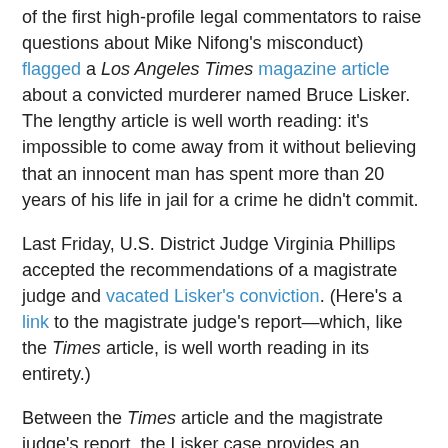of the first high-profile legal commentators to raise questions about Mike Nifong's misconduct) flagged a Los Angeles Times magazine article about a convicted murderer named Bruce Lisker. The lengthy article is well worth reading: it's impossible to come away from it without believing that an innocent man has spent more than 20 years of his life in jail for a crime he didn't commit.
Last Friday, U.S. District Judge Virginia Phillips accepted the recommendations of a magistrate judge and vacated Lisker's conviction. (Here's a link to the magistrate judge's report—which, like the Times article, is well worth reading in its entirety.)
Between the Times article and the magistrate judge's report, the Lisker case provides an unusually well-documented example of a miscarriage of justice. It also illustrates how the lacrosse case differed from most cases of innocent people being charged with a crime they didn't commit.
Lisker, an adopted son of older parents, had a troubled childhood. He used hard drugs in junior high school, fought